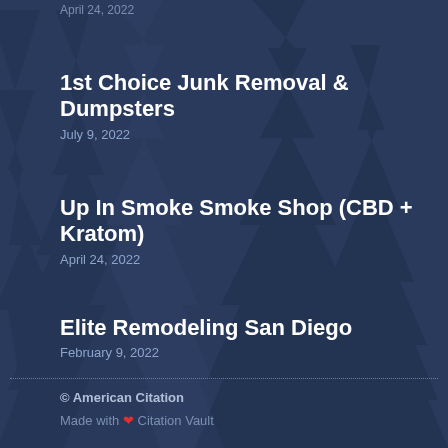1st Choice Junk Removal & Dumpsters
July 9, 2022
Up In Smoke Smoke Shop (CBD + Kratom)
April 24, 2022
Elite Remodeling San Diego
February 9, 2022
© American Citation
Made with ❤ Citation Vault